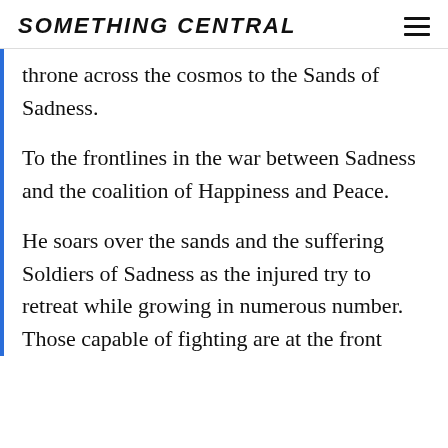SOMETHING CENTRAL
throne across the cosmos to the Sands of Sadness.
To the frontlines in the war between Sadness and the coalition of Happiness and Peace.
He soars over the sands and the suffering Soldiers of Sadness as the injured try to retreat while growing in numerous number. Those capable of fighting are at the front